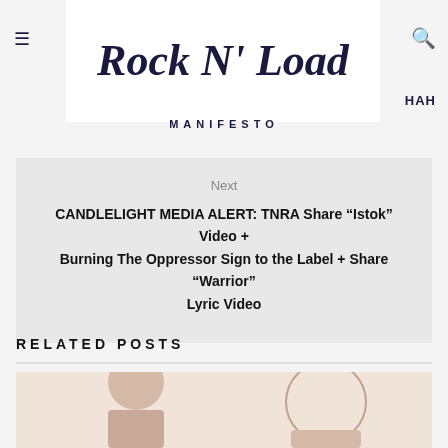Rock N' Load
HAH
MANIFESTO
Next
CANDLELIGHT MEDIA ALERT: TNRA Share “Istok” Video + Burning The Oppressor Sign to the Label + Share “Warrior” Lyric Video
RELATED POSTS
[Figure (photo): Photo of a person, partially visible, cropped at bottom of page]